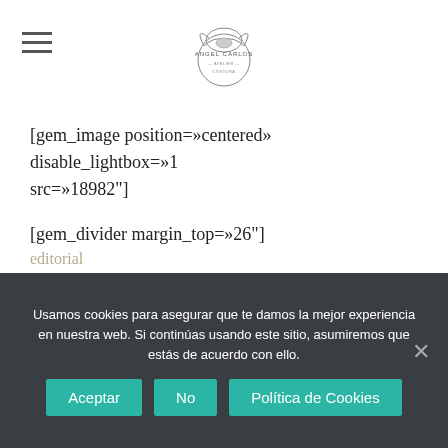Angel Carlos logo with hamburger menu
[gem_image position=»centered» disable_lightbox=»1 src=»18982"]
[gem_divider margin_top=»26"]
editorial
[vc_separator color=»custom» align=»align_left» border_width=»2" el_width=»40" accent_color=»#b3ae8d»]
Lorem Ipsum. Proin gravida nibh vel velit auctor aliquet. Aenean sollicitudin, lorem  elit
Usamos cookies para asegurar que te damos la mejor experiencia en nuestra web. Si continúas usando este sitio, asumiremos que estás de acuerdo con ello.
Aceptar | No | Política de Cookies